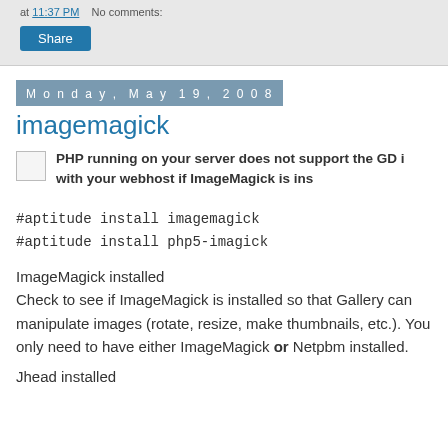at 11:57 PM   No comments:
Share
Monday, May 19, 2008
imagemagick
PHP running on your server does not support the GD i with your webhost if ImageMagick is ins
#aptitude install imagemagick
#aptitude install php5-imagick
ImageMagick installed
Check to see if ImageMagick is installed so that Gallery can manipulate images (rotate, resize, make thumbnails, etc.). You only need to have either ImageMagick or Netpbm installed.
Jhead installed